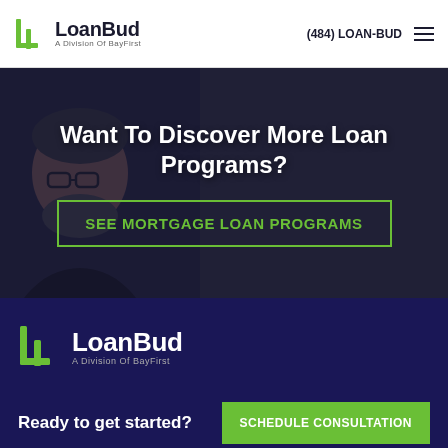[Figure (logo): LoanBud logo with green icon and text 'LoanBud A Division Of BayFirst' in header]
(484) LOAN-BUD
[Figure (photo): Hero section with dark background photo of a man with glasses and beard, overlaid with text and CTA button]
Want To Discover More Loan Programs?
SEE MORTGAGE LOAN PROGRAMS
[Figure (logo): LoanBud footer logo with green icon and white text 'LoanBud A Division Of BayFirst' on dark navy background]
Ready to get started?
SCHEDULE CONSULTATION